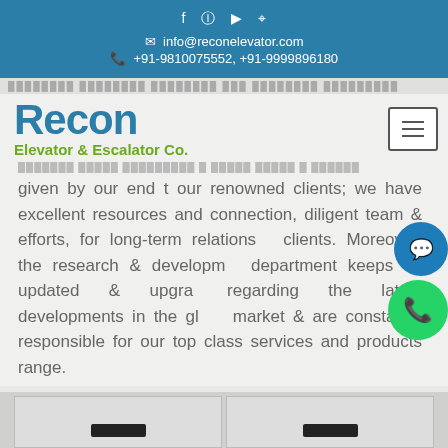info@reconelevator.com  +91-9810075552, +91-9999896180
[Figure (screenshot): Recon Elevator & Escalator Co. logo with hamburger menu button]
given by our end t our renowned clients; we have excellent resources and connection, diligent team & efforts, for long-term relations clients. Moreover, the research & development department keeps us updated & upgraded regarding the latest developments in the global market & are constantly responsible for our top class services and products range.
[Figure (photo): Bottom section showing elevator door panels]